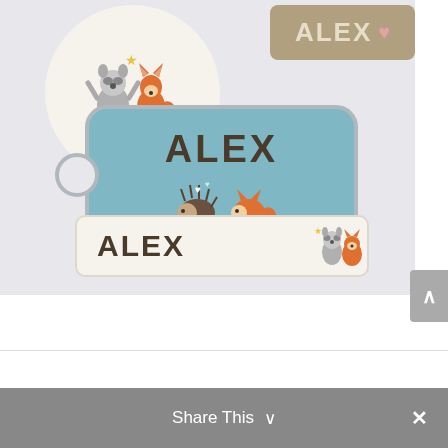[Figure (photo): Product preview showing personalized name labels and tags with woodland animal theme. Includes: a round circular tag with fox and raccoon illustration, a brown rectangular label reading ALEX with a heart, a dog tag in blue reading ALEX with hedgehog and fox illustration, and a small rectangular name label reading ALEX with animal illustration.]
Share This ∨ ×